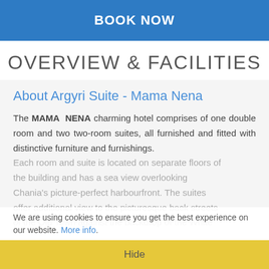BOOK NOW
OVERVIEW & FACILITIES
About Argyri Suite - Mama Nena
The MAMA NENA charming hotel comprises of one double room and two two-room suites, all furnished and fitted with distinctive furniture and furnishings.
Each room and suite is located on separate floors of the building and has a sea view overlooking Chania's picture-perfect harbourfront. The suites offer additional view to the picturesque back streets of the Old Town against the backdrop of the White
We are using cookies to ensure you get the best experience on our website. More info.
Hide